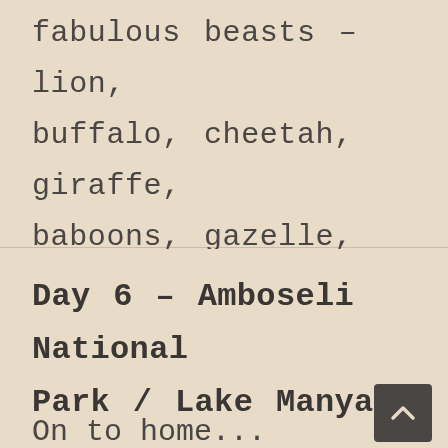fabulous beasts – lion, buffalo, cheetah, giraffe, baboons, gazelle, hippo and wildebeest to name but a few. (BLD)
Day 6 – Amboseli National Park / Lake Manyara – Village Visit
On to home...